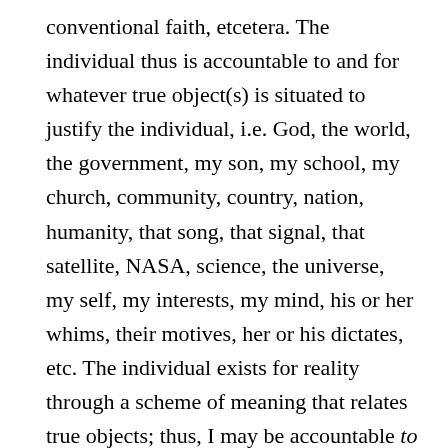conventional faith, etcetera. The individual thus is accountable to and for whatever true object(s) is situated to justify the individual, i.e. God, the world, the government, my son, my school, my church, community, country, nation, humanity, that song, that signal, that satellite, NASA, science, the universe, my self, my interests, my mind, his or her whims, their motives, her or his dictates, etc. The individual exists for reality through a scheme of meaning that relates true objects; thus, I may be accountable to my boss, but I am accountable for my work, or, I may be accountable to God, and accountable for spreading His message.
Yet, when discourse is included as existent, existence being the only knowable thing that may account for